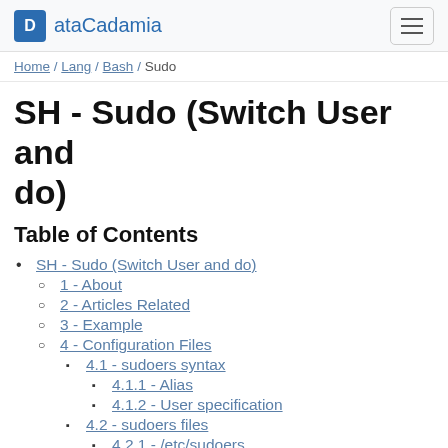ataCadamia
Home / Lang / Bash / Sudo
SH - Sudo (Switch User and do)
Table of Contents
SH - Sudo (Switch User and do)
1 - About
2 - Articles Related
3 - Example
4 - Configuration Files
4.1 - sudoers syntax
4.1.1 - Alias
4.1.2 - User specification
4.2 - sudoers files
4.2.1 - /etc/sudoers